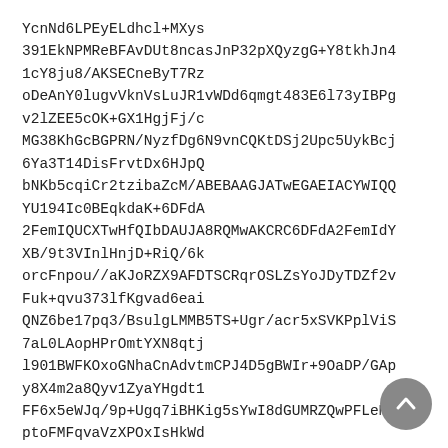YcnNd6LPEyELdhcl+MXys
391EkNPMReBFAvDUt8ncasJnP32pXQyzgG+Y8tkhJn4
1cY8ju8/AKSECneByT7Rz
oDeAnY0lugvVknVsLuJR1vWDd6qmgt483E6l73yIBPg
v2lZEE5cOK+GX1HgjFj/c
MG38KhGcBGPRN/NyzfDg6N9vnCQKtDSj2Upc5UykBcj
6Ya3T14DisFrvtDx6HJpQ
bNKb5cqiCr2tzibaZcM/ABEBAAGJATwEGAEIACYWIQQ
YU194Ic0BEqkdaK+6DFdA
2FemIQUCXTwHfQIbDAUJA8RQMwAKCRC6DFdA2FemIdY
XB/9t3VInlHnjD+RiQ/6k
orcFnpou//aKJoRZX9AFDTSCRqrOSLZsYoJDyTDZf2v
Fuk+qvu373lfKgvad6eai
QNZ6be17pq3/BsulgLMMB5TS+Ugr/acr5xSVKPplViS
7aL0LAopHPrOmtYXN8qtj
l901BWFKOxoGNhaCnAdvtmCPJ4D5gBWIr+9OaDP/GAp
y8X4m2a8Qyv1ZyaYHgdt1
FF6x5eWJq/9p+Ugq7iBHKig5sYwI8dGUMRZQwPFLeMK
ptoFMFqvaVzXPOxIsHkWd